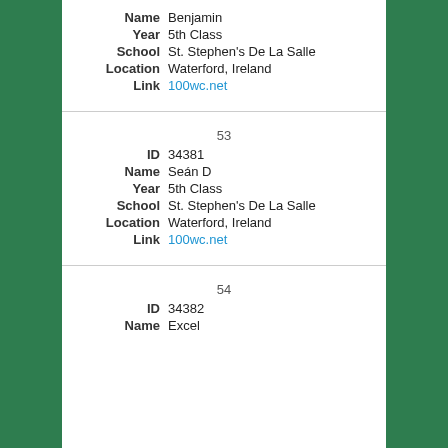Name  Benjamin
Year  5th Class
School  St. Stephen's De La Salle
Location  Waterford, Ireland
Link  100wc.net
53
ID  34381
Name  Seán D
Year  5th Class
School  St. Stephen's De La Salle
Location  Waterford, Ireland
Link  100wc.net
54
ID  34382
Name  Excel